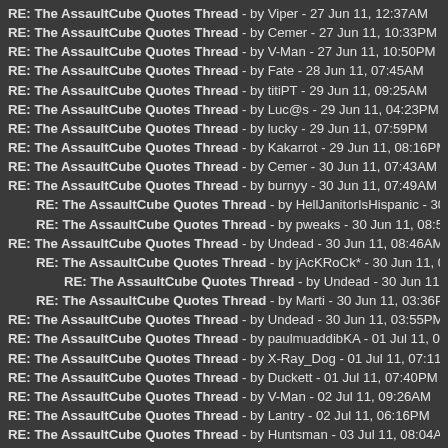RE: The AssaultCube Quotes Thread - by Viper - 27 Jun 11, 12:37AM
RE: The AssaultCube Quotes Thread - by Cemer - 27 Jun 11, 10:33PM
RE: The AssaultCube Quotes Thread - by V-Man - 27 Jun 11, 10:50PM
RE: The AssaultCube Quotes Thread - by Fate - 28 Jun 11, 07:45AM
RE: The AssaultCube Quotes Thread - by titiPT - 29 Jun 11, 09:25AM
RE: The AssaultCube Quotes Thread - by Luc@s - 29 Jun 11, 04:23PM
RE: The AssaultCube Quotes Thread - by lucky - 29 Jun 11, 07:59PM
RE: The AssaultCube Quotes Thread - by Kakarrot - 29 Jun 11, 08:16PM
RE: The AssaultCube Quotes Thread - by Cemer - 30 Jun 11, 07:43AM
RE: The AssaultCube Quotes Thread - by burnyy - 30 Jun 11, 07:49AM
RE: The AssaultCube Quotes Thread - by HellJanitorIsHispanic - 30 Jun 11,
RE: The AssaultCube Quotes Thread - by pweaks - 30 Jun 11, 08:56AM
RE: The AssaultCube Quotes Thread - by Undead - 30 Jun 11, 08:46AM
RE: The AssaultCube Quotes Thread - by jAcKRoCk* - 30 Jun 11, 09:19AM
RE: The AssaultCube Quotes Thread - by Undead - 30 Jun 11, 02:49PM
RE: The AssaultCube Quotes Thread - by Marti - 30 Jun 11, 03:36PM
RE: The AssaultCube Quotes Thread - by Undead - 30 Jun 11, 03:55PM
RE: The AssaultCube Quotes Thread - by paulmuaddibKA - 01 Jul 11, 01:16PM
RE: The AssaultCube Quotes Thread - by X-Ray_Dog - 01 Jul 11, 07:11PM
RE: The AssaultCube Quotes Thread - by Duckett - 01 Jul 11, 07:40PM
RE: The AssaultCube Quotes Thread - by V-Man - 02 Jul 11, 09:26AM
RE: The AssaultCube Quotes Thread - by Lantry - 02 Jul 11, 06:16PM
RE: The AssaultCube Quotes Thread - by Huntsman - 03 Jul 11, 08:04AM
RE: The AssaultCube Quotes Thread - by Frogulis - 03 Jul 11, 01:36PM
RE: The AssaultCube Quotes Thread - by ...